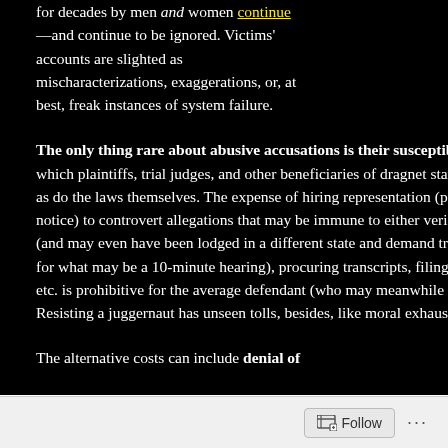for decades by men and women continue —and continue to be ignored. Victims' accounts are slighted as mischaracterizations, exaggerations, or, at best, freak instances of system failure.
The only thing rare about abusive accusations is their susceptibility to exposure, which plaintiffs, trial judges, and other beneficiaries of dragnet statutes militate against, as do the laws themselves. The expense of hiring representation (possibly on a few days' notice) to controvert allegations that may be immune to either verification or disproof (and may even have been lodged in a different state and demand travel to appear in court for what may be a 10-minute hearing), procuring transcripts, filing an appeal or appeals, etc. is prohibitive for the average defendant (who may meanwhile be homeless). Resisting a juggernaut has unseen tolls, besides, like moral exhaustion.
The alternative costs can include denial of
advent—the 1970s—this
The phrase due process, to defend themselves be defendants due process, so-called "appeals heari supposes him or her to b
To put it baldly, defenda summarily (and indefinit knowing nothing more a Amendment was drafted
The motive for denying n was satisfying feminist c allegations being discou knocked around and terr complaining about it). R thereby be granted imme
Though social attitudes t extreme, many might ar
Follow